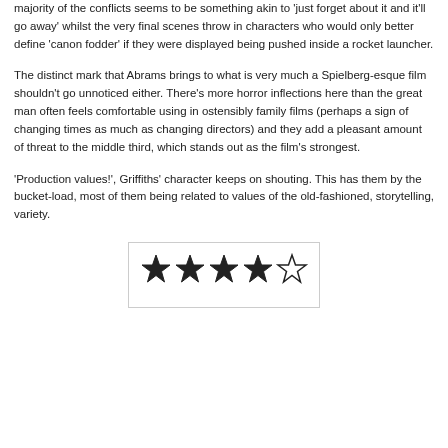majority of the conflicts seems to be something akin to 'just forget about it and it'll go away' whilst the very final scenes throw in characters who would only better define 'canon fodder' if they were displayed being pushed inside a rocket launcher.
The distinct mark that Abrams brings to what is very much a Spielberg-esque film shouldn't go unnoticed either. There's more horror inflections here than the great man often feels comfortable using in ostensibly family films (perhaps a sign of changing times as much as changing directors) and they add a pleasant amount of threat to the middle third, which stands out as the film's strongest.
'Production values!', Griffiths' character keeps on shouting. This has them by the bucket-load, most of them being related to values of the old-fashioned, storytelling, variety.
[Figure (other): Star rating graphic showing 4 out of 5 stars — four filled black stars and one outlined empty star inside a rounded rectangle border.]